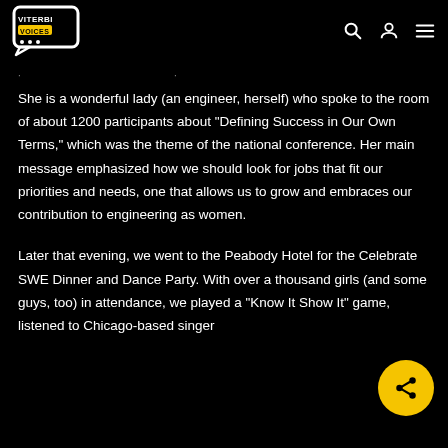Viterbi Voices
She is a wonderful lady (an engineer, herself) who spoke to the room of about 1200 participants about “Defining Success in Our Own Terms,” which was the theme of the national conference. Her main message emphasized how we should look for jobs that fit our priorities and needs, one that allows us to grow and embraces our contribution to engineering as women.
Later that evening, we went to the Peabody Hotel for the Celebrate SWE Dinner and Dance Party. With over a thousand girls (and some guys, too) in attendance, we played a “Know It Show It” game, listened to Chicago-based singer